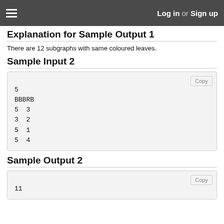Log in or Sign up
Explanation for Sample Output 1
There are 12 subgraphs with same coloured leaves.
Sample Input 2
5
BBBRB
5 3
3 2
5 1
5 4
Sample Output 2
11